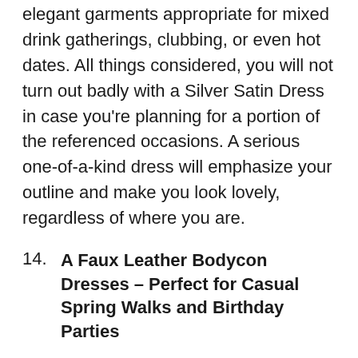elegant garments appropriate for mixed drink gatherings, clubbing, or even hot dates. All things considered, you will not turn out badly with a Silver Satin Dress in case you're planning for a portion of the referenced occasions. A serious one-of-a-kind dress will emphasize your outline and make you look lovely, regardless of where you are.
14. A Faux Leather Bodycon Dresses – Perfect for Casual Spring Walks and Birthday Parties
We shouldn't neglect to add a Black Faux Leather Dress to our must-have list. Tight dresses like this one are an amazing decision for various occasions, including both those held during the day and in the evening. This little bodycon dresses can be combined